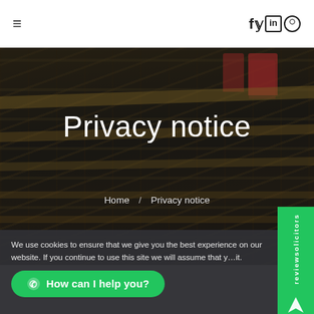≡  f  ʏ  in  ⊙  (navigation and social icons)
[Figure (photo): Dark-toned library interior with bookshelves, desks, and red chairs, used as a hero background image]
Privacy notice
Home  /  Privacy notice
[Figure (other): reviewsolicitors vertical green badge with logo on right side]
We use cookies to ensure that we give you the best experience on our website. If you continue to use this site we will assume that you are ok with it.
How can I help you?